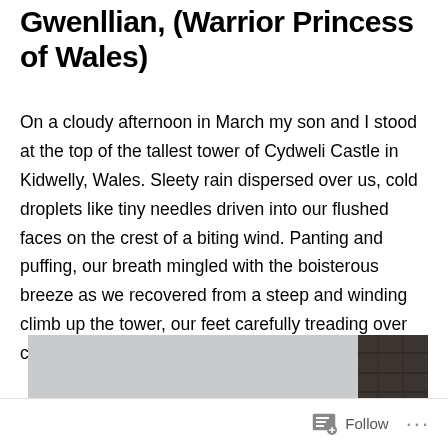Gwenllian, (Warrior Princess of Wales)
On a cloudy afternoon in March my son and I stood at the top of the tallest tower of Cydweli Castle in Kidwelly, Wales. Sleety rain dispersed over us, cold droplets like tiny needles driven into our flushed faces on the crest of a biting wind. Panting and puffing, our breath mingled with the boisterous breeze as we recovered from a steep and winding climb up the tower, our feet carefully treading over centuries of narrow, worn stone.
[Figure (photo): A partially visible photograph showing a grey overcast sky, a dark stone castle wall on the right edge, and the top of a person's head at the bottom center, taken from the top of Cydweli Castle tower.]
Follow ···